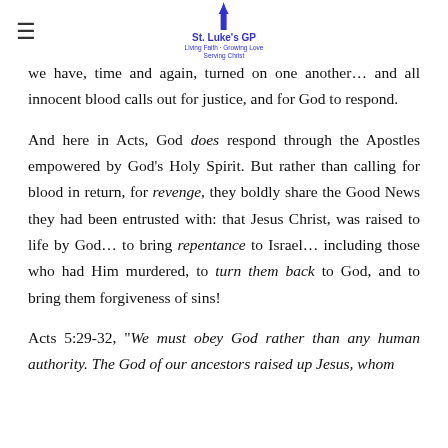St. Luke's GP — Living Faith · Growing Love · Serving Christ
we have, time and again, turned on one another… and all innocent blood calls out for justice, and for God to respond.
And here in Acts, God does respond through the Apostles empowered by God's Holy Spirit. But rather than calling for blood in return, for revenge, they boldly share the Good News they had been entrusted with: that Jesus Christ, was raised to life by God… to bring repentance to Israel… including those who had Him murdered, to turn them back to God, and to bring them forgiveness of sins!
Acts 5:29-32, "We must obey God rather than any human authority. The God of our ancestors raised up Jesus, whom